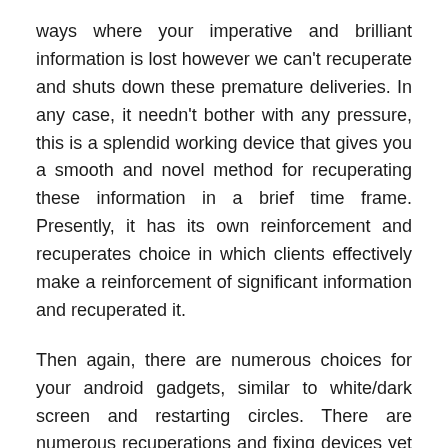ways where your imperative and brilliant information is lost however we can't recuperate and shuts down these premature deliveries. In any case, it needn't bother with any pressure, this is a splendid working device that gives you a smooth and novel method for recuperating these information in a brief time frame. Presently, it has its own reinforcement and recuperates choice in which clients effectively make a reinforcement of significant information and recuperated it.
Then again, there are numerous choices for your android gadgets, similar to white/dark screen and restarting circles. There are numerous recuperations and fixing devices yet iMyFone Fixppo Crack is